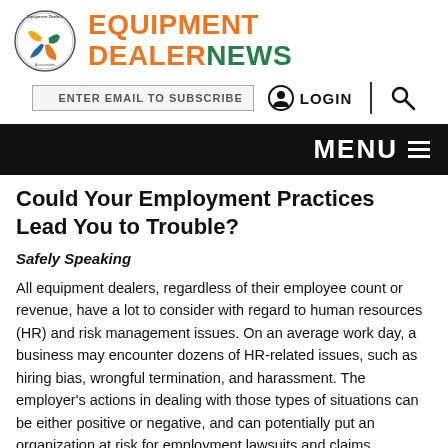[Figure (logo): Equipment Dealers Association circular logo with colorful leaf/gear design, next to 'EQUIPMENT DEALER NEWS' text in orange and green]
[Figure (screenshot): Email subscription input box reading 'ENTER EMAIL TO SUBSCRIBE', login icon and LOGIN text, vertical divider, and search icon]
MENU ☰
Could Your Employment Practices Lead You to Trouble?
Safely Speaking
All equipment dealers, regardless of their employee count or revenue, have a lot to consider with regard to human resources (HR) and risk management issues. On an average work day, a business may encounter dozens of HR-related issues, such as hiring bias, wrongful termination, and harassment. The employer's actions in dealing with those types of situations can be either positive or negative, and can potentially put an organization at risk for employment lawsuits and claims.